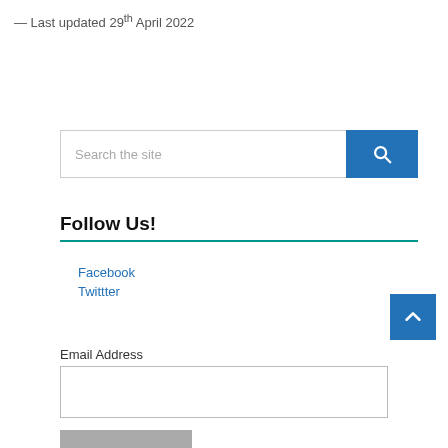— Last updated 29th April 2022
[Figure (other): Search bar with text input 'Search the site' and a blue search button with magnifying glass icon]
Follow Us!
Facebook
Twittter
[Figure (other): Blue back-to-top button with upward chevron arrow]
Email Address
[Figure (other): Email address input field (empty text box)]
[Figure (other): Grey submit button (partially visible at bottom)]